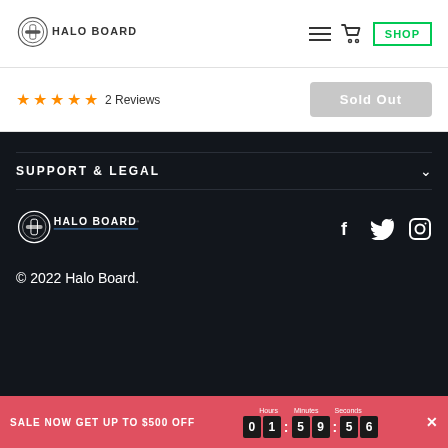Halo Board - navigation header with logo, menu, cart, and SHOP button
★★★★★ 2 Reviews
Sold Out
SUPPORT & LEGAL
[Figure (logo): Halo Board logo in white on dark background]
[Figure (other): Social media icons: Facebook, Twitter, Instagram]
© 2022 Halo Board.
SALE NOW GET UP TO $500 OFF  01 : 59 : 56  Hours Minutes Seconds